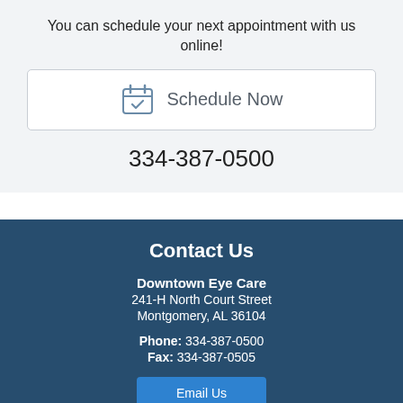You can schedule your next appointment with us online!
[Figure (illustration): A button-style box with a calendar checkmark icon and 'Schedule Now' text]
334-387-0500
Contact Us
Downtown Eye Care
241-H North Court Street
Montgomery, AL 36104
Phone: 334-387-0500
Fax: 334-387-0505
Email Us